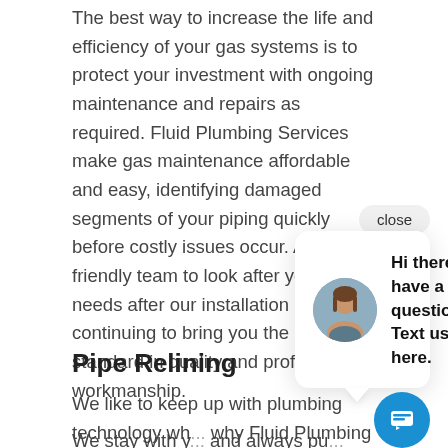The best way to increase the life and efficiency of your gas systems is to protect your investment with ongoing maintenance and repairs as required. Fluid Plumbing Services make gas maintenance affordable and easy, identifying damaged segments of your piping quickly before costly issues occur. Allow our friendly team to look after your gas needs after our installation by continuing to bring you the highest standard in quality and professional workmanship.
We stay with y... and always pu... your Georgeto...
[Figure (screenshot): Chat popup widget showing a female avatar photo and text: 'Hi there, have a question? Text us here.' with a close button and a blue circular chat icon button.]
Pipe Relining
We like to keep up with plumbing technology wh... why Fluid Plumbing Services are proud to offer pipe reli...